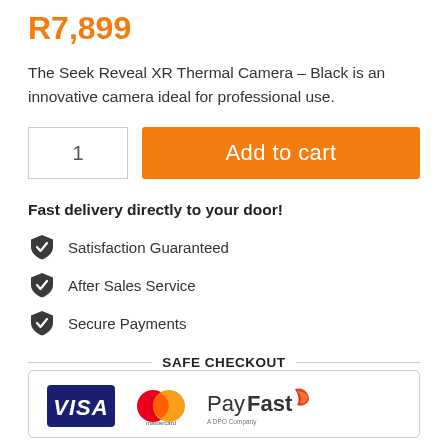R7,899
The Seek Reveal XR Thermal Camera – Black is an innovative camera ideal for professional use.
1  Add to cart
Fast delivery directly to your door!
Satisfaction Guaranteed
After Sales Service
Secure Payments
SAFE CHECKOUT
[Figure (logo): Payment method logos: VISA, Mastercard, PayFast (A DPO Company)]